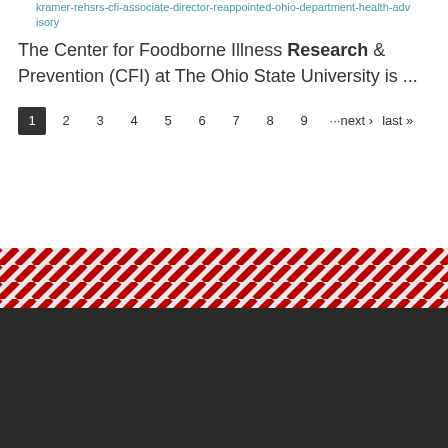kramer-rehsrs-cfi-associate-director-reappointed-ohio-department-health-advisory
The Center for Foodborne Illness Research & Prevention (CFI) at The Ohio State University is ...
1 2 3 4 5 6 7 8 9 ···next › last »
[Figure (other): Diagonal red and white stripe decorative band]
THE OHIO STATE UNIVERSITY
© 2022, The Ohio State University
College of Food, Agricultural And Environmental Sciences Center For Cooperatives